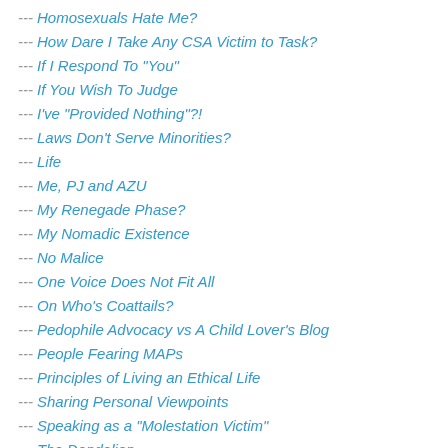--- Homosexuals Hate Me?
--- How Dare I Take Any CSA Victim to Task?
--- If I Respond To "You"
--- If You Wish To Judge
--- I've "Provided Nothing"?!
--- Laws Don't Serve Minorities?
--- Life
--- Me, PJ and AZU
--- My Renegade Phase?
--- My Nomadic Existence
--- No Malice
--- One Voice Does Not Fit All
--- On Who's Coattails?
--- Pedophile Advocacy vs A Child Lover's Blog
--- People Fearing MAPs
--- Principles of Living an Ethical Life
--- Sharing Personal Viewpoints
--- Speaking as a "Molestation Victim"
--- The Dandelion
--- The Links I Choose to Share